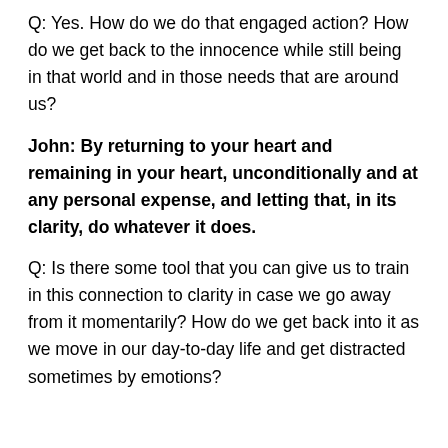Q: Yes. How do we do that engaged action? How do we get back to the innocence while still being in that world and in those needs that are around us?
John: By returning to your heart and remaining in your heart, unconditionally and at any personal expense, and letting that, in its clarity, do whatever it does.
Q: Is there some tool that you can give us to train in this connection to clarity in case we go away from it momentarily? How do we get back into it as we move in our day-to-day life and get distracted sometimes by emotions?